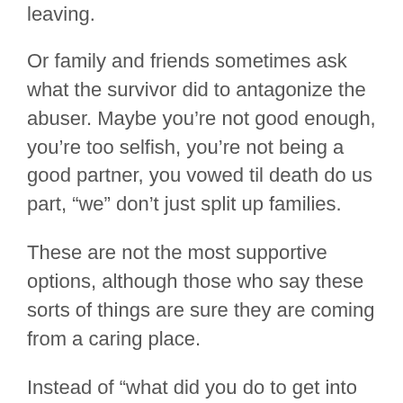leaving.
Or family and friends sometimes ask what the survivor did to antagonize the abuser. Maybe you’re not good enough, you’re too selfish, you’re not being a good partner, you vowed til death do us part, “we” don’t just split up families.
These are not the most supportive options, although those who say these sorts of things are sure they are coming from a caring place.
Instead of “what did you do to get into this mess” you could say “I’m concerned about